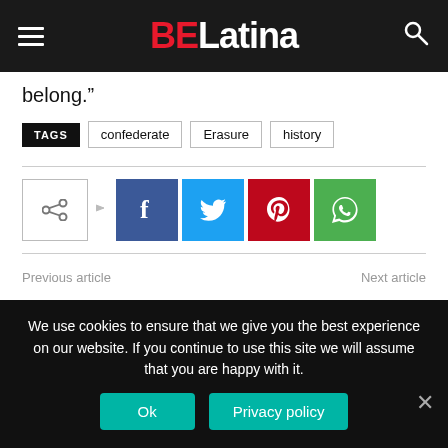BELatina
belong.”
TAGS  confederate  Erasure  history
[Figure (infographic): Social share buttons: share icon box with arrow, followed by Facebook (blue), Twitter (light blue), Pinterest (red), WhatsApp (green) icon buttons]
Previous article    Next article
We use cookies to ensure that we give you the best experience on our website. If you continue to use this site we will assume that you are happy with it.
Ok    Privacy policy